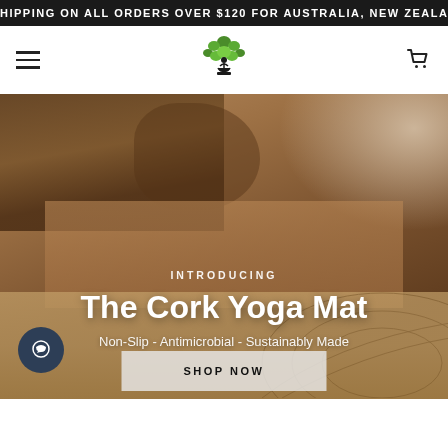HIPPING ON ALL ORDERS OVER $120 FOR AUSTRALIA, NEW ZEALA
[Figure (logo): Green tree with meditating figure logo and hamburger menu icon and shopping cart icon in white navigation bar]
[Figure (photo): Woman with tattoos on arms in yoga pose on cork yoga mat, viewed from close angle showing hands and feet on decorative cork mat]
INTRODUCING
The Cork Yoga Mat
Non-Slip - Antimicrobial - Sustainably Made
SHOP NOW